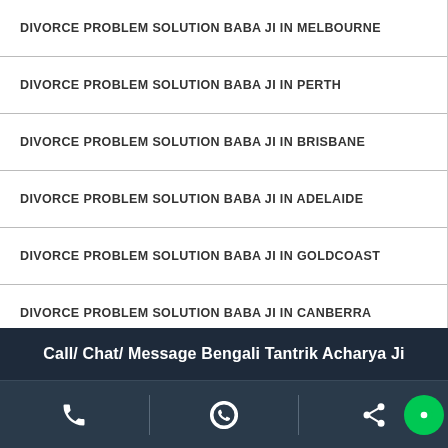DIVORCE PROBLEM SOLUTION BABA JI IN MELBOURNE
DIVORCE PROBLEM SOLUTION BABA JI IN PERTH
DIVORCE PROBLEM SOLUTION BABA JI IN BRISBANE
DIVORCE PROBLEM SOLUTION BABA JI IN ADELAIDE
DIVORCE PROBLEM SOLUTION BABA JI IN GOLDCOAST
DIVORCE PROBLEM SOLUTION BABA JI IN CANBERRA
DIVORCE PROBLEM SOLUTION BABA JI IN DARWIN
DIVORCE PROBLEM SOLUTION BABA JI IN HOBART
DIVORCE PROBLEM SOLUTION BABA JI IN CAIRNS
Call/ Chat/ Message Bengali Tantrik Acharya Ji